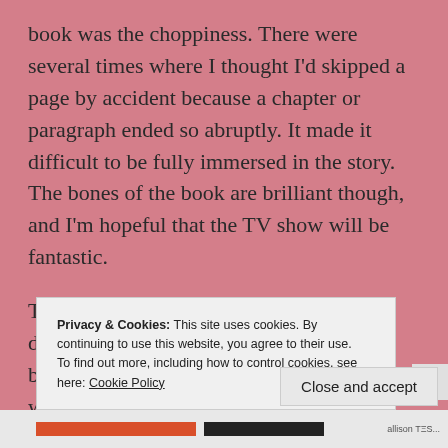book was the choppiness. There were several times where I thought I'd skipped a page by accident because a chapter or paragraph ended so abruptly. It made it difficult to be fully immersed in the story. The bones of the book are brilliant though, and I'm hopeful that the TV show will be fantastic.
This is one of the very rare times where I don't necessarily recommend reading the book before watching the show. I feel icky writing this, but (gulp!)
Privacy & Cookies: This site uses cookies. By continuing to use this website, you agree to their use.
To find out more, including how to control cookies, see here: Cookie Policy